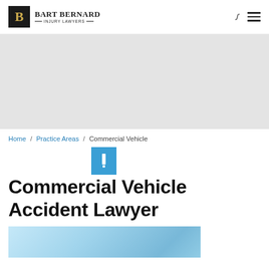Bart Bernard Injury Lawyers
Home / Practice Areas / Commercial Vehicle
Commercial Vehicle Accident Lawyer
[Figure (photo): Blue sky photo at the bottom of the page]